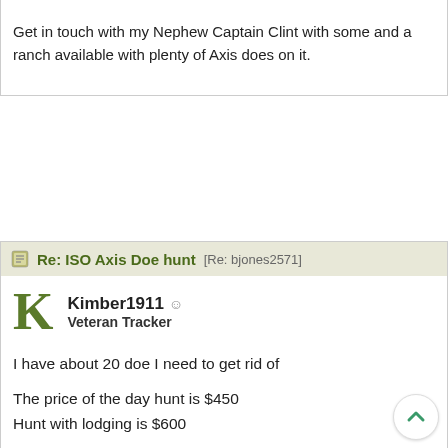Get in touch with my Nephew Captain Clint with some and a ranch available with plenty of Axis does on it.
Re: ISO Axis Doe hunt [Re: bjones2571]
Kimber1911 ☺ Veteran Tracker
I have about 20 doe I need to get rid of

The price of the day hunt is $450
Hunt with lodging is $600
Re: ISO Axis Doe hunt [Re: bjones2571]